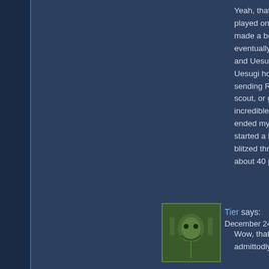Yeah, that seems to... played one game w... made a beeline for ... eventually, but it wa... and Uesugi at the s... Uesugi house is fai... sending Rance in a... scout, or get ready ... incredible fighters fo... ended my very first ... started a higher diff... blitzed through a no... about 40 points. Th...
[Figure (photo): User avatar image showing a green armored character or creature, square thumbnail]
Tier says:
December 24, 2010 at
Wow, that was one ... admittedly, the 12b...